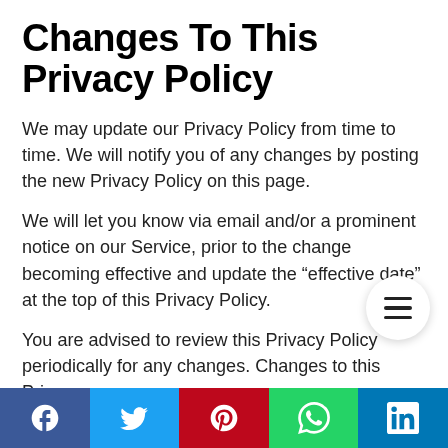Changes To This Privacy Policy
We may update our Privacy Policy from time to time. We will notify you of any changes by posting the new Privacy Policy on this page.
We will let you know via email and/or a prominent notice on our Service, prior to the change becoming effective and update the “effective date” at the top of this Privacy Policy.
You are advised to review this Privacy Policy periodically for any changes. Changes to this Privacy